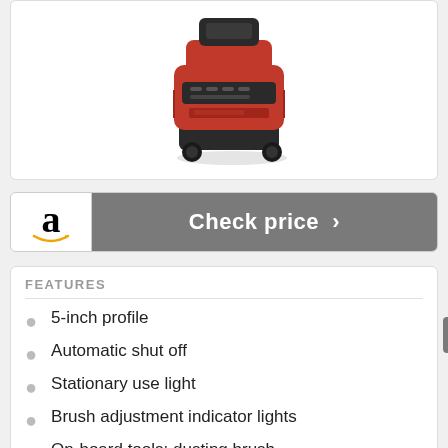[Figure (photo): Red and black upright vacuum cleaner product photo on white background]
Check price >
FEATURES
5-inch profile
Automatic shut off
Stationary use light
Brush adjustment indicator lights
On-board tools: dusting brush